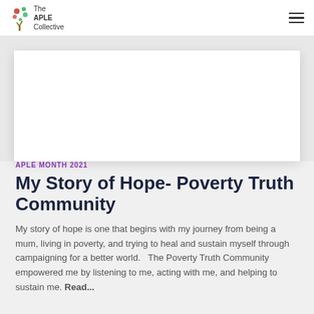The APLE Collective
[Figure (photo): White card/hero image area with shadow on grey background]
APLE MONTH 2021
My Story of Hope- Poverty Truth Community
My story of hope is one that begins with my journey from being a mum, living in poverty, and trying to heal and sustain myself through campaigning for a better world.   The Poverty Truth Community empowered me by listening to me, acting with me, and helping to sustain me. Read...